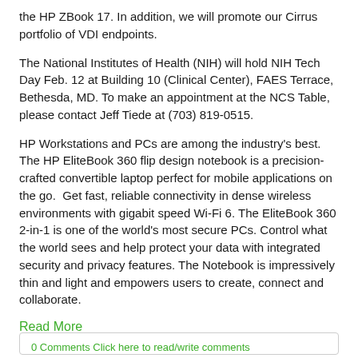the HP ZBook 17. In addition, we will promote our Cirrus portfolio of VDI endpoints.
The National Institutes of Health (NIH) will hold NIH Tech Day Feb. 12 at Building 10 (Clinical Center), FAES Terrace, Bethesda, MD. To make an appointment at the NCS Table, please contact Jeff Tiede at (703) 819-0515.
HP Workstations and PCs are among the industry's best. The HP EliteBook 360 flip design notebook is a precision-crafted convertible laptop perfect for mobile applications on the go. Get fast, reliable connectivity in dense wireless environments with gigabit speed Wi-Fi 6. The EliteBook 360 2-in-1 is one of the world's most secure PCs. Control what the world sees and help protect your data with integrated security and privacy features. The Notebook is impressively thin and light and empowers users to create, connect and collaborate.
Read More
0 Comments Click here to read/write comments